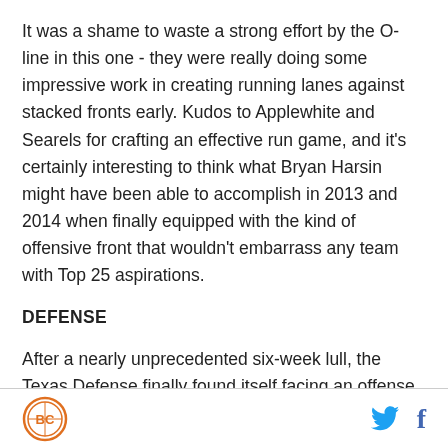It was a shame to waste a strong effort by the O-line in this one - they were really doing some impressive work in creating running lanes against stacked fronts early. Kudos to Applewhite and Searels for crafting an effective run game, and it's certainly interesting to think what Bryan Harsin might have been able to accomplish in 2013 and 2014 when finally equipped with the kind of offensive front that wouldn't embarrass any team with Top 25 aspirations.
DEFENSE
After a nearly unprecedented six-week lull, the Texas Defense finally found itself facing an offense with dual
BC logo | Twitter | Facebook